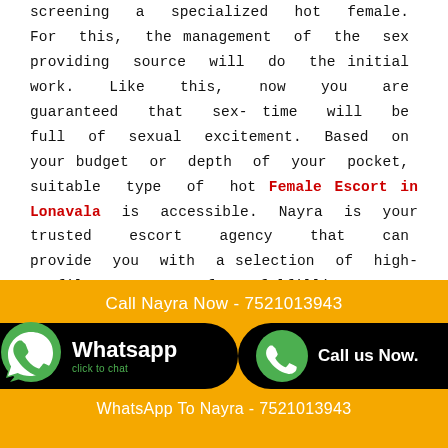screening a specialized hot female. For this, the management of the sex providing source will do the initial work. Like this, now you are guaranteed that sex-time will be full of sexual excitement. Based on your budget or depth of your pocket, suitable type of hot Female Escort in Lonavala is accessible. Nayra is your trusted escort agency that can provide you with a selection of high-profile escorts for fulfilling your sex desires. Lonavala Independent Escort is a keyword search that will make sure you are connecting with reputable escort agencies. Ongoing through a website of one such adult service provider, you will go through a
[Figure (infographic): Orange banner with text 'Call Nayra Now - 7521013943' in white. Below, a black rounded WhatsApp button with green WhatsApp icon, 'Whatsapp click to chat' text, and a separate black rounded 'Call us Now.' button with green phone icon. At bottom, white text 'WhatsApp To Nayra - 7521013943' on black background.]